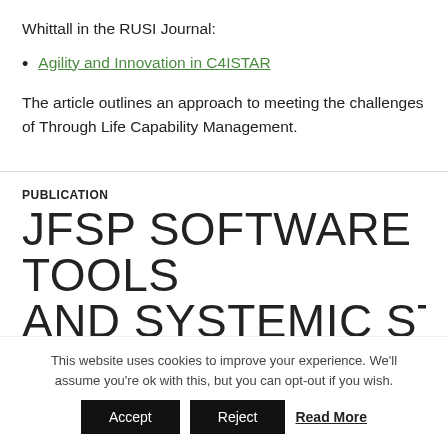Whittall in the RUSI Journal:
Agility and Innovation in C4ISTAR
The article outlines an approach to meeting the challenges of Through Life Capability Management.
PUBLICATION
JFSP SOFTWARE TOOLS AND SYSTEMIC STUDY
This website uses cookies to improve your experience. We'll assume you're ok with this, but you can opt-out if you wish.